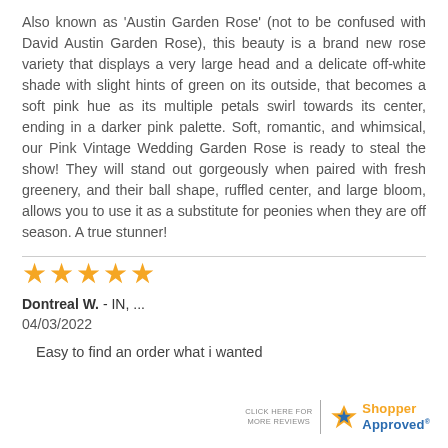Also known as 'Austin Garden Rose' (not to be confused with David Austin Garden Rose), this beauty is a brand new rose variety that displays a very large head and a delicate off-white shade with slight hints of green on its outside, that becomes a soft pink hue as its multiple petals swirl towards its center, ending in a darker pink palette. Soft, romantic, and whimsical, our Pink Vintage Wedding Garden Rose is ready to steal the show! They will stand out gorgeously when paired with fresh greenery, and their ball shape, ruffled center, and large bloom, allows you to use it as a substitute for peonies when they are off season. A true stunner!
[Figure (other): Five orange star rating icons]
Dontreal W.  - IN, ...
04/03/2022
Easy to find an order what i wanted
[Figure (logo): Shopper Approved logo with click here for more reviews text]